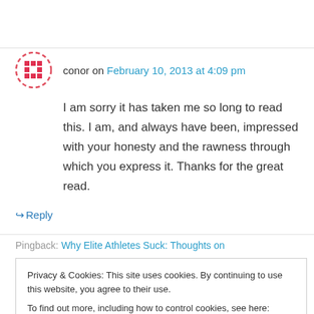conor on February 10, 2013 at 4:09 pm
I am sorry it has taken me so long to read this. I am, and always have been, impressed with your honesty and the rawness through which you express it. Thanks for the great read.
↳ Reply
Pingback: Why Elite Athletes Suck: Thoughts on
Privacy & Cookies: This site uses cookies. By continuing to use this website, you agree to their use. To find out more, including how to control cookies, see here: Cookie Policy